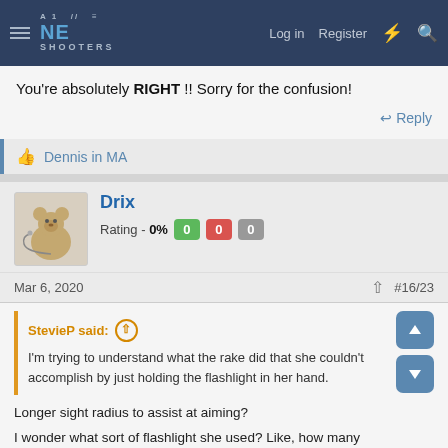NE SHOOTERS — Log in  Register
You're absolutely RIGHT !! Sorry for the confusion!
↩ Reply
👍 Dennis in MA
Drix   Rating - 0%   0  0  0
Mar 6, 2020   #16/23
StevieP said: ↑
I'm trying to understand what the rake did that she couldn't accomplish by just holding the flashlight in her hand.

Longer sight radius to assist at aiming?

I wonder what sort of flashlight she used? Like, how many lumens